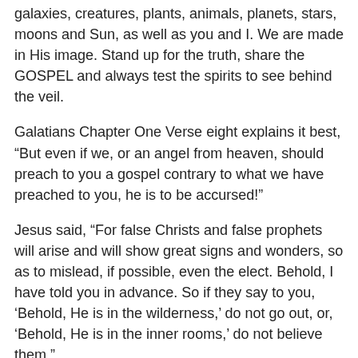galaxies, creatures, plants, animals, planets, stars, moons and Sun, as well as you and I. We are made in His image. Stand up for the truth, share the GOSPEL and always test the spirits to see behind the veil.
Galatians Chapter One Verse eight explains it best, “But even if we, or an angel from heaven, should preach to you a gospel contrary to what we have preached to you, he is to be accursed!”
Jesus said, “For false Christs and false prophets will arise and will show great signs and wonders, so as to mislead, if possible, even the elect. Behold, I have told you in advance. So if they say to you, ‘Behold, He is in the wilderness,’ do not go out, or, ‘Behold, He is in the inner rooms,’ do not believe them.”
In China since the time of the Ming dynasty between the years of 1368 and 1644 following the collapse of the Mongol-led Yuan dynasty, a false Christian non-Biblical gospel teaching concept has been deceiving